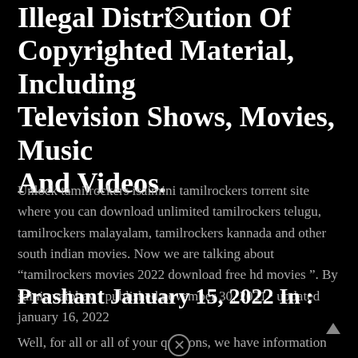Illegal Distribution Of Copyrighted Material, Including Television Shows, Movies, Music And Videos.
Unlock tamilrockers isaimini tamilrockers torrent site where you can download unlimited tamilrockers telugu, tamilrockers malayalam, tamilrockers kannada and other south indian movies. Now we are talking about “tamilrockers movies 2022 download free hd movies ”. By sainis.vaibhav · published november 30, 2021 · updated january 16, 2022
Prashant January 15, 2022 In :
Well, for all or all of your questions, we have information